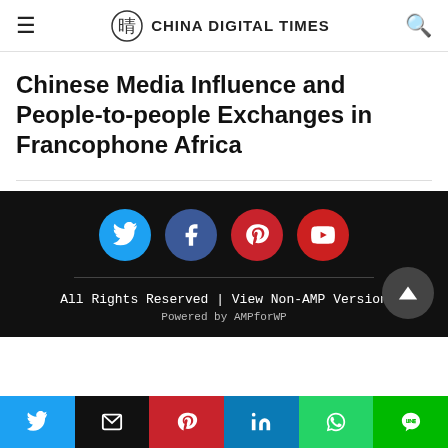CHINA DIGITAL TIMES
Chinese Media Influence and People-to-people Exchanges in Francophone Africa
[Figure (other): Dark footer with four social media icon circles: Twitter (blue), Facebook (dark blue), Pinterest (red), YouTube (red)]
All Rights Reserved | View Non-AMP Version
Powered by AMPforWP
[Figure (other): Bottom share bar with six buttons: Twitter, Email, Pinterest, LinkedIn, WhatsApp, Line]